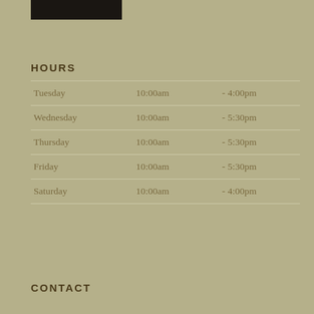[Figure (other): Dark rectangular bar at top of page, cropped logo or header element]
HOURS
| Tuesday | 10:00am | - 4:00pm |
| Wednesday | 10:00am | - 5:30pm |
| Thursday | 10:00am | - 5:30pm |
| Friday | 10:00am | - 5:30pm |
| Saturday | 10:00am | - 4:00pm |
CONTACT